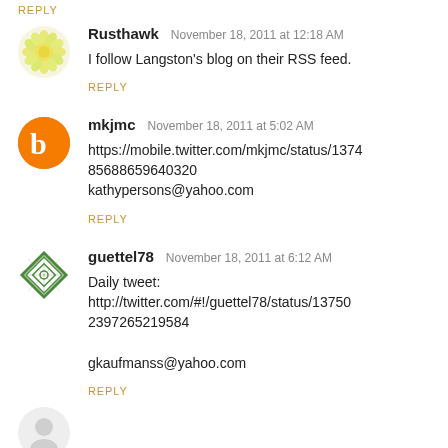REPLY
Rusthawk   November 18, 2011 at 12:18 AM
I follow Langston's blog on their RSS feed.
REPLY
mkjmc   November 18, 2011 at 5:02 AM
https://mobile.twitter.com/mkjmc/status/13748568886596403 20
kathypersons@yahoo.com
REPLY
guettel78   November 18, 2011 at 6:12 AM
Daily tweet:
http://twitter.com/#!/guettel78/status/137502397265219584

gkaufmanss@yahoo.com
REPLY